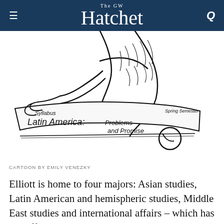The GW Hatchet
[Figure (illustration): Ink sketch cartoon showing a person holding a syllabus document titled 'Latin America: Problems and Promise' with 'Spring Semester' written on it. Cartoon by Emily Venezky.]
CARTOON BY EMILY VENEZKY
Elliott is home to four majors: Asian studies, Latin American and hemispheric studies, Middle East studies and international affairs – which has 14 different concentrations. These concentrations are split into “functional” and “regional” themes.